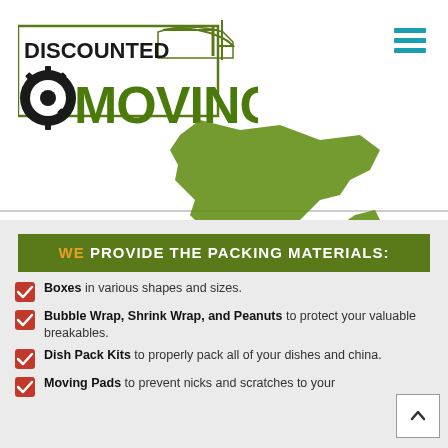[Figure (logo): Discounted Moving logo with gear tire and moving truck silhouette in dark green and black]
[Figure (illustration): Green silhouette map shape, likely Ontario Canada]
WE PROVIDE THE PACKING MATERIALS:
Boxes in various shapes and sizes.
Bubble Wrap, Shrink Wrap, and Peanuts to protect your valuable breakables.
Dish Pack Kits to properly pack all of your dishes and china.
Moving Pads to prevent nicks and scratches to your